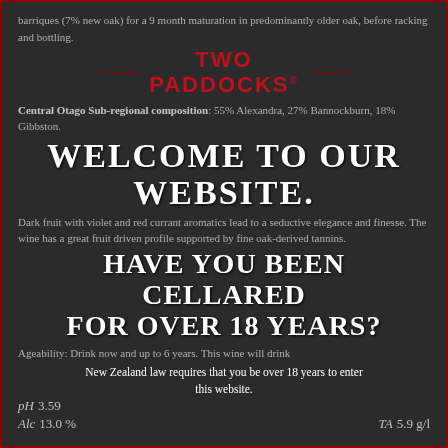barriques (7% new oak) for a 9 month maturation in predominantly older oak, before racking and bottling.
[Figure (logo): Two Paddocks winery logo with red text and decorative lines]
Central Otago Sub-regional composition: 55% Alexandra, 27% Bannockburn, 18% Gibbston.
WELCOME TO OUR WEBSITE.
Dark fruit with violet and red currant aromatics lead to a seductive elegance and finesse. The wine has a great fruit driven profile supported by fine oak-derived tannins.
HAVE YOU BEEN CELLARED FOR OVER 18 YEARS?
Ageability: Drink now and up to 6 years. This wine will drink
New Zealand law requires that you be over 18 years to enter this website.
pH 3.59   TA 5.9 g/l   Alc 13.0 %